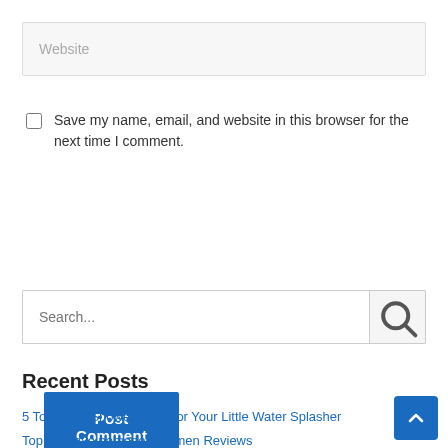Website
Save my name, email, and website in this browser for the next time I comment.
Post Comment »
Search...
Recent Posts
5 Top Baby Shower Gels For Your Little Water Splasher
Top 10 wave pomades for men Reviews